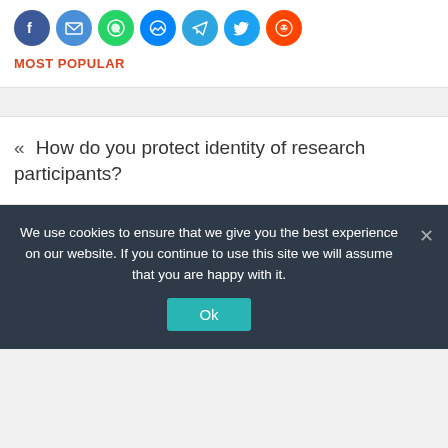[Figure (infographic): Row of social media share icon buttons: Facebook (blue), Email (blue), WhatsApp (green), Messenger (blue), Telegram (blue), Twitter (blue), Reddit (orange-red)]
MOST POPULAR
« How do you protect identity of research participants?
We use cookies to ensure that we give you the best experience on our website. If you continue to use this site we will assume that you are happy with it.
Ok